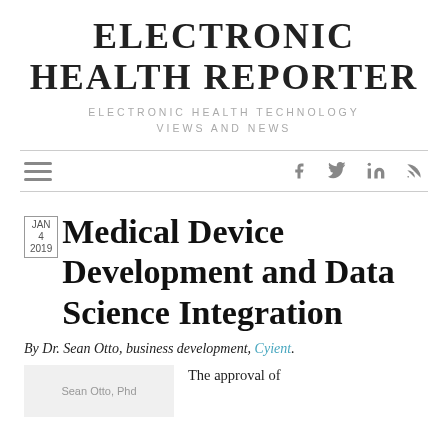ELECTRONIC HEALTH REPORTER
ELECTRONIC HEALTH TECHNOLOGY VIEWS AND NEWS
[Figure (other): Navigation bar with hamburger menu icon on left and social media icons (Facebook, Twitter, LinkedIn, RSS) on right]
Medical Device Development and Data Science Integration
By Dr. Sean Otto, business development, Cyient.
[Figure (photo): Sean Otto, Phd author photo placeholder]
The approval of